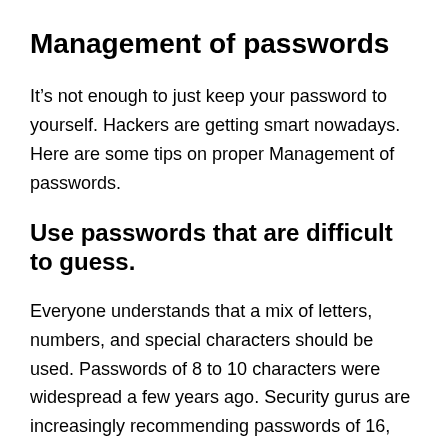Management of passwords
It’s not enough to just keep your password to yourself. Hackers are getting smart nowadays. Here are some tips on proper Management of passwords.
Use passwords that are difficult to guess.
Everyone understands that a mix of letters, numbers, and special characters should be used. Passwords of 8 to 10 characters were widespread a few years ago. Security gurus are increasingly recommending passwords of 16, 20, or even 25